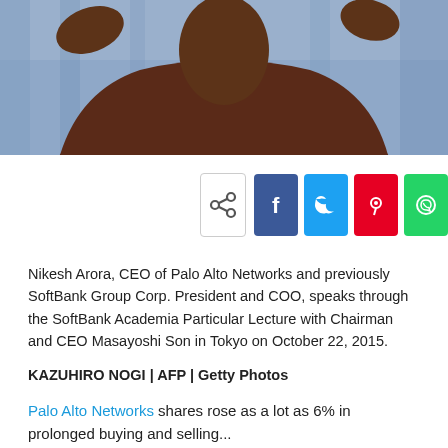[Figure (photo): Photo of Nikesh Arora, a man in a dark blazer and white shirt, gesturing with hands raised, with a blue curtain backdrop]
[Figure (infographic): Social share buttons row: native share icon, Facebook (blue), Twitter (cyan), Pinterest (red), WhatsApp (green)]
Nikesh Arora, CEO of Palo Alto Networks and previously SoftBank Group Corp. President and COO, speaks through the SoftBank Academia Particular Lecture with Chairman and CEO Masayoshi Son in Tokyo on October 22, 2015.
KAZUHIRO NOGI | AFP | Getty Photos
Palo Alto Networks shares rose as a lot as 6% in prolonged buying and selling...